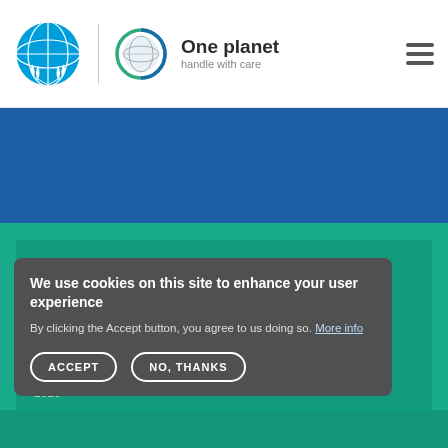One planet — handle with care
[Figure (logo): UN emblem logo and 'One planet handle with care' branding logo in header]
POPULATION
[Figure (infographic): Large watermark number (700M or similar) on teal background representing population statistic]
We use cookies on this site to enhance your user experience
By clicking the Accept button, you agree to us doing so. More info
ACCEPT
NO, THANKS